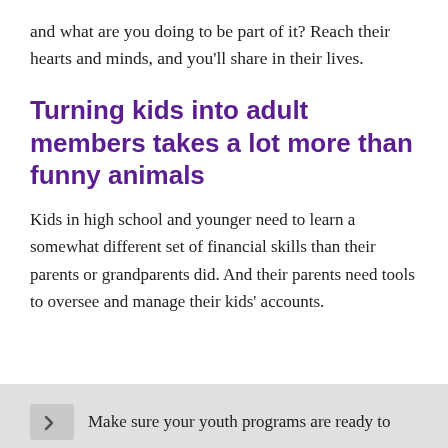and what are you doing to be part of it? Reach their hearts and minds, and you'll share in their lives.
Turning kids into adult members takes a lot more than funny animals
Kids in high school and younger need to learn a somewhat different set of financial skills than their parents or grandparents did. And their parents need tools to oversee and manage their kids' accounts.
Make sure your youth programs are ready to